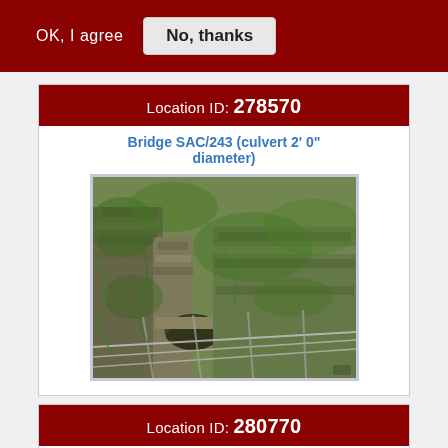OK, I agree   No, thanks
Location ID: 278570
Bridge SAC/243 (culvert 2' 0" diameter)
[Figure (photo): Photograph of a stone culvert/bridge structure overgrown with vegetation and weeds, with metal railings visible in the foreground]
Location ID: 280770
Bridge SAC/258 - Low Moor No 1 (removed: was occupation, now just a pipe)